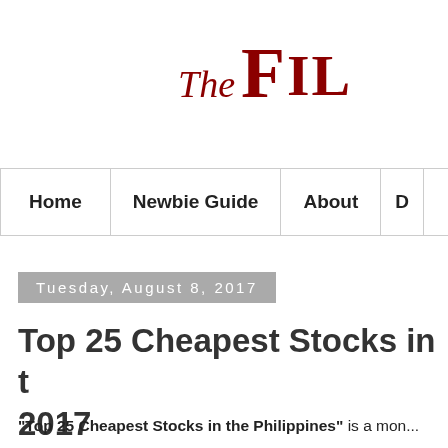[Figure (logo): Website logo showing 'The Fil...' in dark red serif font with italic 'The' and large small-caps 'FIL' text, partially cropped]
Home | Newbie Guide | About | D...
Tuesday, August 8, 2017
Top 25 Cheapest Stocks in t... 2017
"Top 25 Cheapest Stocks in the Philippines" is a mon...